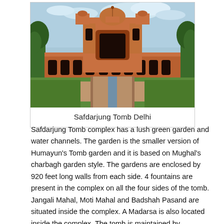[Figure (photo): Photograph of Safdarjung Tomb Delhi showing the grand Mughal-style mausoleum with red sandstone facade, arched corridors, central dome, green gardens and a long stone water channel walkway leading to the tomb entrance under a partly cloudy sky.]
Safdarjung Tomb Delhi
Safdarjung Tomb complex has a lush green garden and water channels. The garden is the smaller version of Humayun's Tomb garden and it is based on Mughal's charbagh garden style. The gardens are enclosed by 920 feet long walls from each side. 4 fountains are present in the complex on all the four sides of the tomb. Jangali Mahal, Moti Mahal and Badshah Pasand are situated inside the complex. A Madarsa is also located inside the complex. The tomb is maintained by Archaeological Survey of India (ASI).